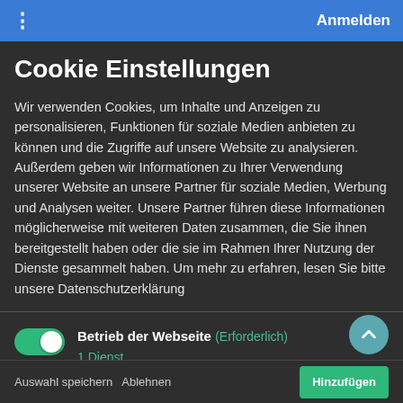⋮  Anmelden
Cookie Einstellungen
Wir verwenden Cookies, um Inhalte und Anzeigen zu personalisieren, Funktionen für soziale Medien anbieten zu können und die Zugriffe auf unsere Website zu analysieren. Außerdem geben wir Informationen zu Ihrer Verwendung unserer Website an unsere Partner für soziale Medien, Werbung und Analysen weiter. Unsere Partner führen diese Informationen möglicherweise mit weiteren Daten zusammen, die Sie ihnen bereitgestellt haben oder die sie im Rahmen Ihrer Nutzung der Dienste gesammelt haben. Um mehr zu erfahren, lesen Sie bitte unsere Datenschutzerklärung
Betrieb der Webseite (Erforderlich) — 1 Dienst [toggle ON]
Styling — 1 Dienst [toggle OFF]